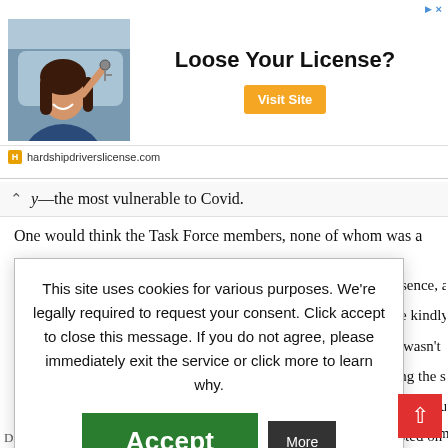[Figure (screenshot): Web advertisement banner: photo of a woman in a car holding keys, headline 'Loose Your License?', orange 'Visit Site' button, domain 'hardshipdriverslicense.com']
y—the most vulnerable to Covid.
One would think the Task Force members, none of whom was a
[Figure (screenshot): Cookie consent overlay: 'This site uses cookies for various purposes. We're legally required to request your consent. Click accept to close this message. If you do not agree, please immediately exit the service or click more to learn why.' with Accept (green) and More (dark) buttons]
presence, advice take kindly to ror wasn't suing the same s, and though it nsisted on loper to point this ariah in the Task
r the first time
Dr. Smith, Anean Bird, asked him point blank how long he'd be